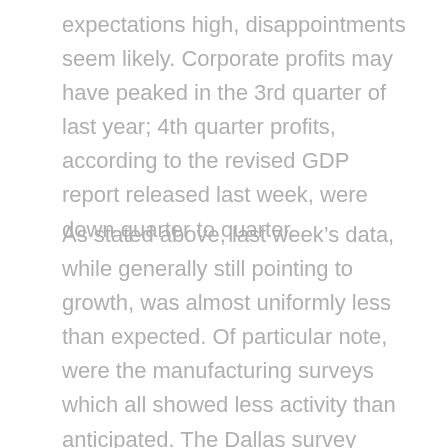expectations high, disappointments seem likely. Corporate profits may have peaked in the 3rd quarter of last year; 4th quarter profits, according to the revised GDP report released last week, were down quarter to quarter.
As stated above, last week's data, while generally still pointing to growth, was almost uniformly less than expected. Of particular note, were the manufacturing surveys which all showed less activity than anticipated. The Dallas survey came in at 10.8 versus expectations of 15.5, Richmond 7 versus expectations of 18 and the Chicago PMI 62.2 versus expectations of 63. All the reports did